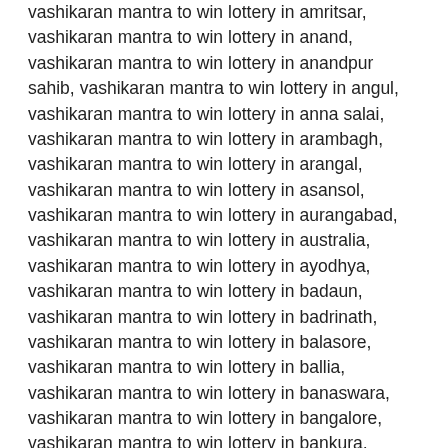vashikaran mantra to win lottery in amritsar, vashikaran mantra to win lottery in anand, vashikaran mantra to win lottery in anandpur sahib, vashikaran mantra to win lottery in angul, vashikaran mantra to win lottery in anna salai, vashikaran mantra to win lottery in arambagh, vashikaran mantra to win lottery in arangal, vashikaran mantra to win lottery in asansol, vashikaran mantra to win lottery in aurangabad, vashikaran mantra to win lottery in australia, vashikaran mantra to win lottery in ayodhya, vashikaran mantra to win lottery in badaun, vashikaran mantra to win lottery in badrinath, vashikaran mantra to win lottery in balasore, vashikaran mantra to win lottery in ballia, vashikaran mantra to win lottery in banaswara, vashikaran mantra to win lottery in bangalore, vashikaran mantra to win lottery in bankura, vashikaran mantra to win lottery in baran, vashikaran mantra to win lottery in barasat, vashikaran mantra to win lottery in bardhaman, vashikaran mantra to win lottery in bareilly, vashikaran mantra to win lottery in baripada, vashikaran mantra to win lottery in barnala, vashikaran mantra to win lottery in barrackpore, vashikaran mantra to win lottery in banyani, vashikaran mantra to win